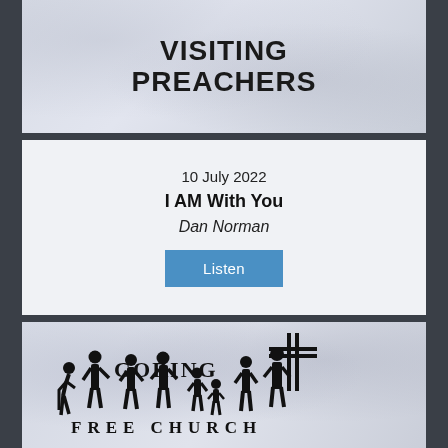VISITING PREACHERS
10 July 2022
I AM With You
Dan Norman
Listen
[Figure (logo): Goring Free Church logo with silhouettes of people holding hands in front of a cross, with text GORING FREE CHURCH]